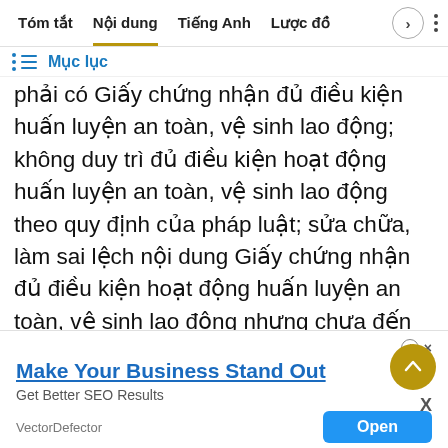Tóm tắt   Nội dung   Tiếng Anh   Lược đồ
Mục lục
phải có Giấy chứng nhận đủ điều kiện huấn luyện an toàn, vệ sinh lao động; không duy trì đủ điều kiện hoạt động huấn luyện an toàn, vệ sinh lao động theo quy định của pháp luật; sửa chữa, làm sai lệch nội dung Giấy chứng nhận đủ điều kiện hoạt động huấn luyện an toàn, vệ sinh lao động nhưng chưa đến mức truy cứu trách nhiệm hình sự; sửa chữa, làm sai lệch văn bản, tài liệu trong hồ sơ để nghị cấp Giấy chứng nhận đủ điều kiện hoạt động huấn luyện an toàn, vệ sinh lao động nhưng
[Figure (screenshot): Advertisement banner: Make Your Business Stand Out - Get Better SEO Results - VectorDefector - Open button]